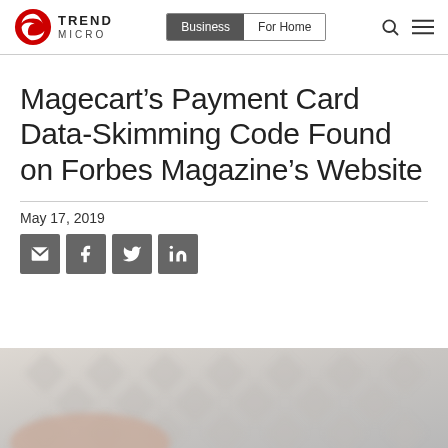Trend Micro | Business | For Home
Magecart’s Payment Card Data-Skimming Code Found on Forbes Magazine’s Website
May 17, 2019
[Figure (illustration): Social sharing buttons: email, Facebook, Twitter, LinkedIn]
[Figure (photo): Blurred background image showing a credit card on a textured surface, partially visible at the bottom of the page]